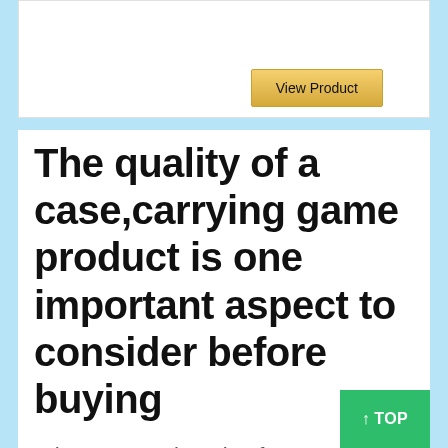[Figure (other): Product card with a View Product button on a white background with light border]
The quality of a case,carrying game product is one important aspect to consider before buying
When you're shopping for a